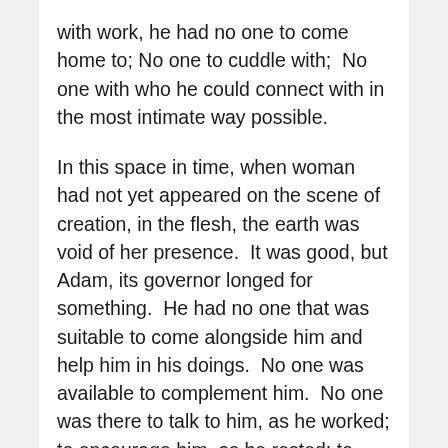with work, he had no one to come home to; No one to cuddle with;  No one with who he could connect with in the most intimate way possible.
In this space in time, when woman had not yet appeared on the scene of creation, in the flesh, the earth was void of her presence.  It was good, but Adam, its governor longed for something.  He had no one that was suitable to come alongside him and help him in his doings.  No one was available to complement him.  No one was there to talk to him, as he worked; to encourage him, as he rested; to lavish her love upon him.  At this point in creation, Adam had been so full, yet desired something more and only God knew what...